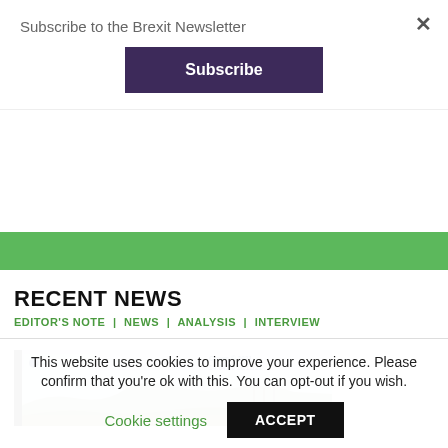Subscribe to the Brexit Newsletter
Subscribe
[Figure (screenshot): Green bar/banner partial view]
RECENT NEWS
EDITOR'S NOTE | NEWS | ANALYSIS | INTERVIEW
[Figure (photo): Highways England traffic camera screenshot showing landscape, Crown 2021, 14:04:36 18/12/21]
This website uses cookies to improve your experience. Please confirm that you're ok with this. You can opt-out if you wish.
Cookie settings
ACCEPT